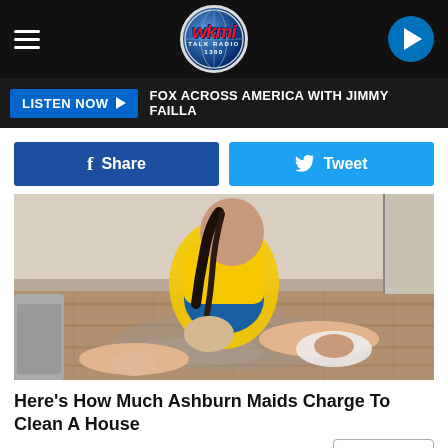[Figure (screenshot): WKMI Talk Radio 1360 website header with hamburger menu, logo, and play button on black background]
LISTEN NOW ▶   FOX ACROSS AMERICA WITH JIMMY FAILLA
f Share   Tweet
[Figure (photo): A woman in a yellow uniform shirt scrubbing a hardwood floor on her hands and knees inside a home]
Here's How Much Ashburn Maids Charge To Clean A House
Cleaning Services | Search Ads
Search Now